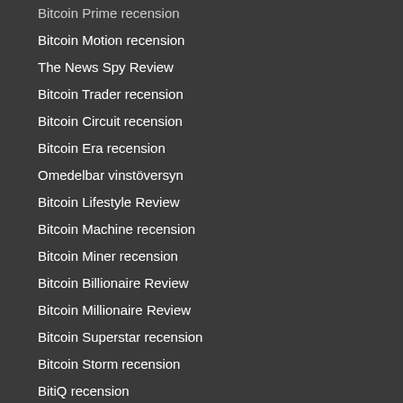Bitcoin Prime recension
Bitcoin Motion recension
The News Spy Review
Bitcoin Trader recension
Bitcoin Circuit recension
Bitcoin Era recension
Omedelbar vinstöversyn
Bitcoin Lifestyle Review
Bitcoin Machine recension
Bitcoin Miner recension
Bitcoin Billionaire Review
Bitcoin Millionaire Review
Bitcoin Superstar recension
Bitcoin Storm recension
BitiQ recension